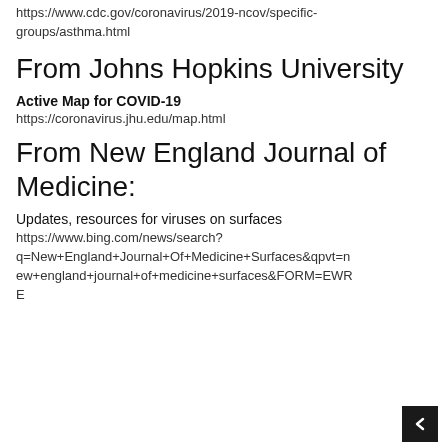https://www.cdc.gov/coronavirus/2019-ncov/specific-groups/asthma.html
From Johns Hopkins University
Active Map for COVID-19
https://coronavirus.jhu.edu/map.html
From New England Journal of Medicine:
Updates, resources for viruses on surfaces
https://www.bing.com/news/search?q=New+England+Journal+Of+Medicine+Surfaces&qpvt=new+england+journal+of+medicine+surfaces&FORM=EWRE